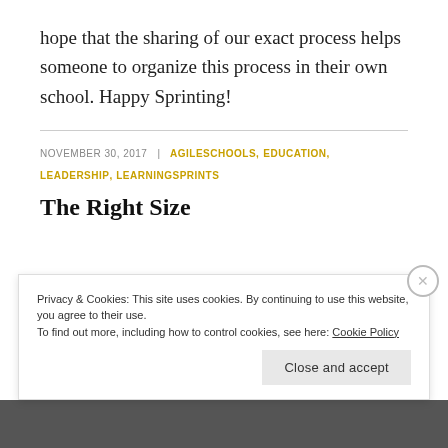While I am sure that our process will change, I hope that the sharing of our exact process helps someone to organize this process in their own school. Happy Sprinting!
NOVEMBER 30, 2017 | AGILESCHOOLS, EDUCATION, LEADERSHIP, LEARNINGSPRINTS
The Right Size
Privacy & Cookies: This site uses cookies. By continuing to use this website, you agree to their use.
To find out more, including how to control cookies, see here: Cookie Policy